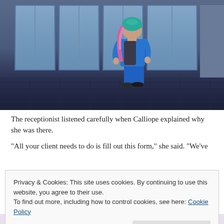[Figure (screenshot): A video game screenshot (The Sims style) showing a character with pink hair wearing a teal beanie, blue jacket and blue pants, viewed from behind, walking in a building with large windows and a tiled floor. The scene has a blue/purple tint.]
The receptionist listened carefully when Calliope explained why she was there.
“All your client needs to do is fill out this form,” she said. “We’ve
Privacy & Cookies: This site uses cookies. By continuing to use this website, you agree to their use.
To find out more, including how to control cookies, see here: Cookie Policy
Close and accept
REDIRECTING AD